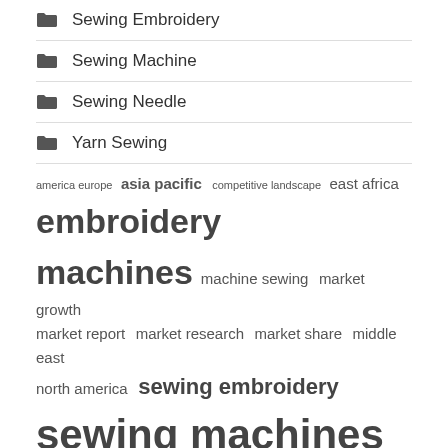Sewing Embroidery
Sewing Machine
Sewing Needle
Yarn Sewing
america europe  asia pacific  competitive landscape  east africa  embroidery machines  machine sewing  market growth  market report  market research  market share  middle east  north america  sewing embroidery  sewing machines  united states
Recent Posts
Green Day Online Guide: Financing a Sewing Machine
The Most Effective Sewing Machines for Your Money And Skill Level